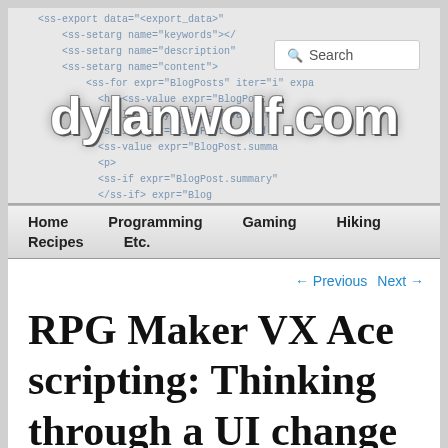[Figure (screenshot): Website header for dylanwolf.com showing code background with XML/template tags, a search box, and the site logo 'dylanwolf.com' overlaid in bold white text]
Home   Programming   Gaming   Hiking   Recipes   Etc.
← Previous   Next →
RPG Maker VX Ace scripting: Thinking through a UI change